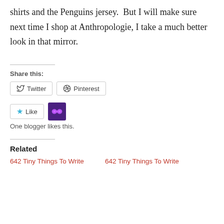shirts and the Penguins jersey.  But I will make sure next time I shop at Anthropologie, I take a much better look in that mirror.
Share this:
Twitter  Pinterest
Like  One blogger likes this.
Related
642 Tiny Things To Write  642 Tiny Things To Write